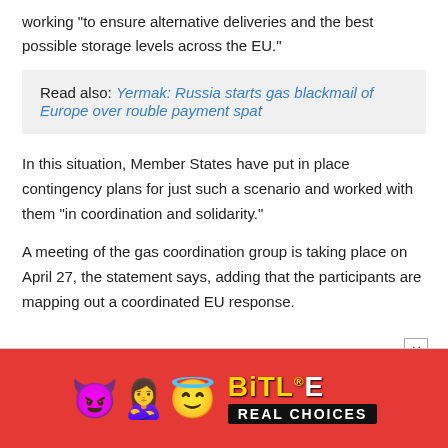working “to ensure alternative deliveries and the best possible storage levels across the EU.”
Read also: Yermak: Russia starts gas blackmail of Europe over rouble payment spat
In this situation, Member States have put in place contingency plans for just such a scenario and worked with them “in coordination and solidarity.”
A meeting of the gas coordination group is taking place on April 27, the statement says, adding that the participants are mapping out a coordinated EU response.
[Figure (infographic): BitLife advertisement banner with emoji characters (devil, person with arms raised, angel face), yellow BitLife logo text with registered trademark, and black banner reading REAL CHOICES on red background]